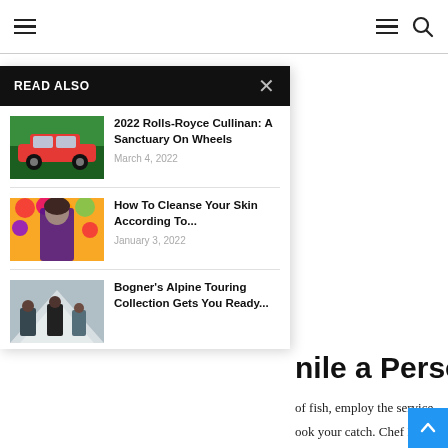Navigation header with hamburger menus and search icon
READ ALSO
[Figure (photo): Red Rolls-Royce Cullinan SUV thumbnail]
2022 Rolls-Royce Cullinan: A Sanctuary On Wheels
March 4, 2022
[Figure (photo): Woman with flowers beauty thumbnail]
How To Cleanse Your Skin According To...
January 3, 2022
[Figure (photo): Bogner alpine touring group thumbnail]
Bogner's Alpine Touring Collection Gets You Ready...
of fish, employ the service
ook your catch. Chef Dan
nile a Personal